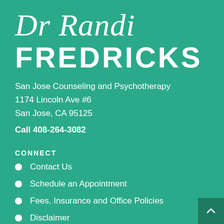Dr Randi FREDRICKS
San Jose Counseling and Psychotherapy
1174 Lincoln Ave #6
San Jose, CA 95125
Call 408-264-3082
CONNECT
Contact Us
Schedule an Appointment
Fees, Insurance and Office Policies
Disclaimer